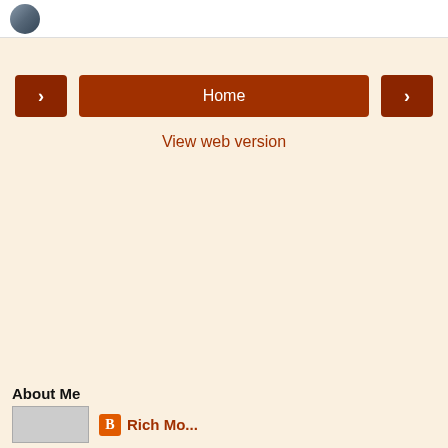[Figure (other): Top bar with avatar/profile icon on white background]
< Home >
View web version
About Me
[Figure (other): Thumbnail image and Blogger icon with author name link]